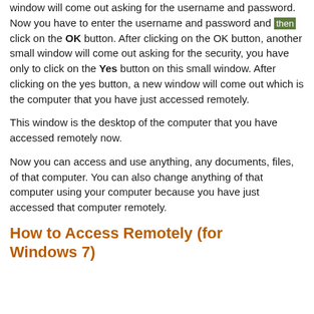window will come out asking for the username and password. Now you have to enter the username and password and then click on the OK button. After clicking on the OK button, another small window will come out asking for the security, you have only to click on the Yes button on this small window. After clicking on the yes button, a new window will come out which is the computer that you have just accessed remotely.
This window is the desktop of the computer that you have accessed remotely now.
Now you can access and use anything, any documents, files, of that computer. You can also change anything of that computer using your computer because you have just accessed that computer remotely.
How to Access Remotely (for Windows 7)